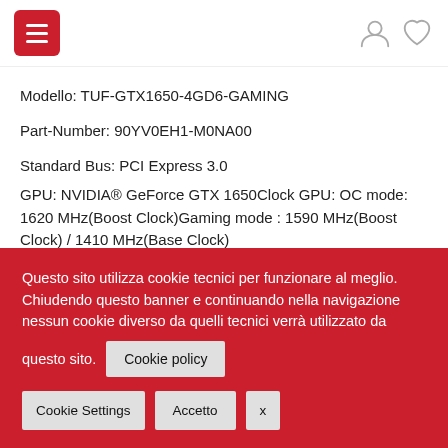Navigation bar with hamburger menu, user icon, and heart/wishlist icon
Modello: TUF-GTX1650-4GD6-GAMING
Part-Number: 90YV0EH1-M0NA00
Standard Bus: PCI Express 3.0
GPU: NVIDIA® GeForce GTX 1650Clock GPU: OC mode: 1620 MHz(Boost Clock)Gaming mode : 1590 MHz(Boost Clock) / 1410 MHz(Base Clock)
Questo sito utilizza cookie tecnici per funzionare al meglio. Chiudendo questo banner e continuando nella navigazione nessun cookie diverso da quelli tecnici verrà utilizzato da questo sito.
Cookie policy
Cookie Settings  Accetto  x